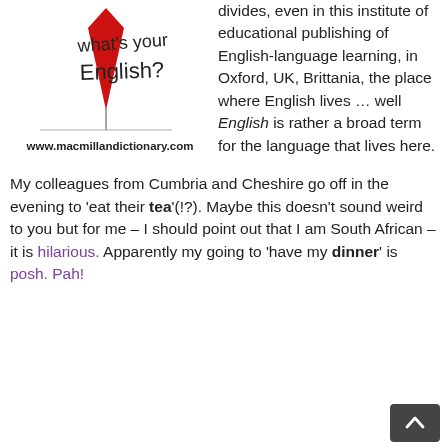[Figure (logo): Macmillan Dictionary logo with red downward arrow/pin shape and handwritten text 'what's your English?' above a horizontal line, with URL www.macmillandictionary.com below]
divides, even in this institute of educational publishing of English-language learning, in Oxford, UK, Brittania, the place where English lives … well English is rather a broad term for the language that lives here.
My colleagues from Cumbria and Cheshire go off in the evening to 'eat their tea'(!?). Maybe this doesn't sound weird to you but for me – I should point out that I am South African – it is hilarious. Apparently my going to 'have my dinner' is posh. Pah!